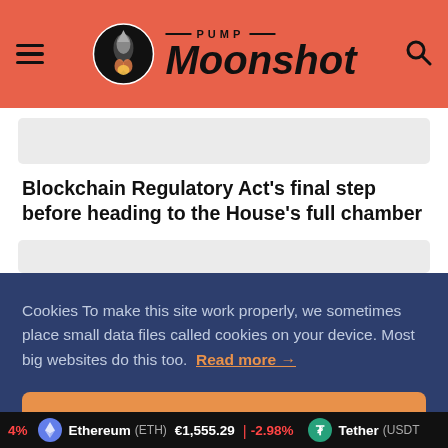PUMP Moonshot
Blockchain Regulatory Act's final step before heading to the House's full chamber
Cookies To make this site work properly, we sometimes place small data files called cookies on your device. Most big websites do this too. Read more →
✓ Accept
Cookies Settings ⚙
Ethereum (ETH) €1,555.29 ↓ -2.98% | Tether (USDT)